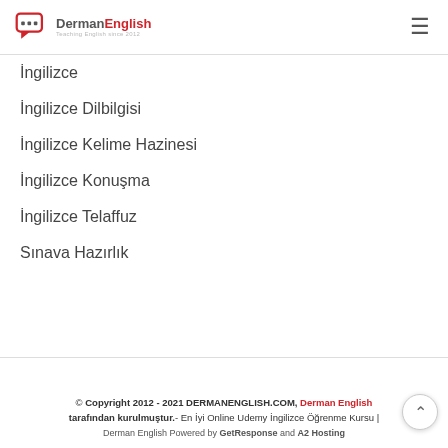DermanEnglish — Teaching English since 2012
İngilizce
İngilizce Dilbilgisi
İngilizce Kelime Hazinesi
İngilizce Konuşma
İngilizce Telaffuz
Sınava Hazırlık
© Copyright 2012 - 2021 DERMANENGLISH.COM, Derman English tarafından kurulmuştur.- En İyi Online Udemy İngilizce Öğrenme Kursu | Derman English Powered by GetResponse and A2 Hosting